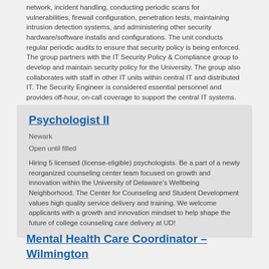network, incident handling, conducting periodic scans for vulnerabilities, firewall configuration, penetration tests, maintaining intrusion detection systems, and administering other security hardware/software installs and configurations.  The unit conducts regular periodic audits to ensure that security policy is being enforced. The group partners with the IT Security Policy & Compliance group to develop and maintain security policy for the University. The group also collaborates with staff in other IT units within central IT and distributed IT.  The Security Engineer is considered essential personnel and provides off-hour, on-call coverage to support the central IT systems.
Psychologist II
Newark
Open until filled
Hiring 5 licensed (license-eligible) psychologists. Be a part of a newly reorganized counseling center team focused on growth and innovation within the University of Delaware's Wellbeing Neighborhood. The Center for Counseling and Student Development values high quality service delivery and training. We welcome applicants with a growth and innovation mindset to help shape the future of college counseling care delivery at UD!
Mental Health Care Coordinator – Wilmington